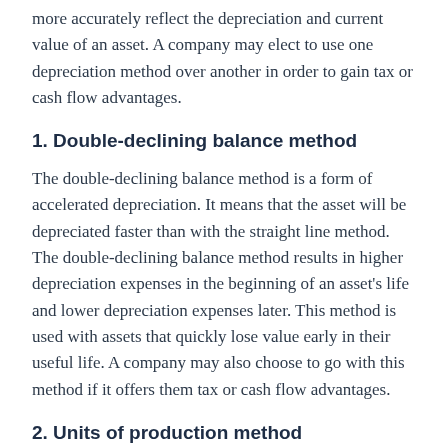more accurately reflect the depreciation and current value of an asset. A company may elect to use one depreciation method over another in order to gain tax or cash flow advantages.
1. Double-declining balance method
The double-declining balance method is a form of accelerated depreciation. It means that the asset will be depreciated faster than with the straight line method. The double-declining balance method results in higher depreciation expenses in the beginning of an asset's life and lower depreciation expenses later. This method is used with assets that quickly lose value early in their useful life. A company may also choose to go with this method if it offers them tax or cash flow advantages.
2. Units of production method